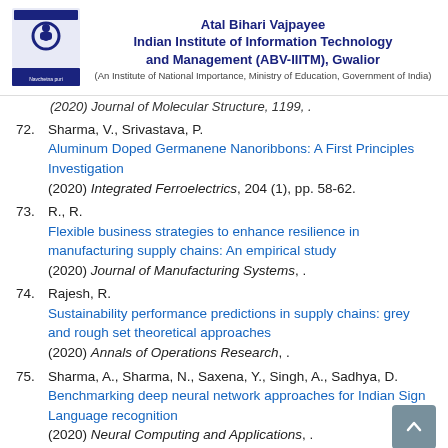Atal Bihari Vajpayee Indian Institute of Information Technology and Management (ABV-IIITM), Gwalior (An Institute of National Importance, Ministry of Education, Government of India)
(2020) Journal of Molecular Structure, 1199, .
72. Sharma, V., Srivastava, P. Aluminum Doped Germanene Nanoribbons: A First Principles Investigation (2020) Integrated Ferroelectrics, 204 (1), pp. 58-62.
73. R., R. Flexible business strategies to enhance resilience in manufacturing supply chains: An empirical study (2020) Journal of Manufacturing Systems, .
74. Rajesh, R. Sustainability performance predictions in supply chains: grey and rough set theoretical approaches (2020) Annals of Operations Research, .
75. Sharma, A., Sharma, N., Saxena, Y., Singh, A., Sadhya, D. Benchmarking deep neural network approaches for Indian Sign Language recognition (2020) Neural Computing and Applications, .